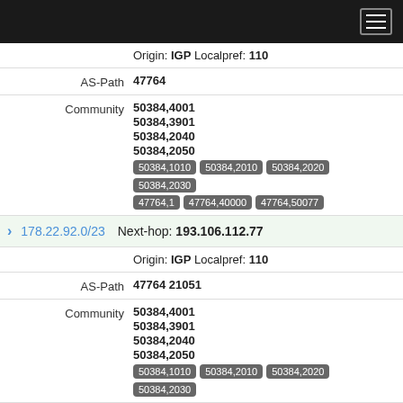Navigation menu header bar
Origin: IGP Localpref: 110
AS-Path  47764
Community  50384,4001
50384,3901
50384,2040
50384,2050
50384,1010  50384,2010  50384,2020  50384,2030
47764,1  47764,40000  47764,50077
> 178.22.92.0/23  Next-hop: 193.106.112.77
Origin: IGP Localpref: 110
AS-Path  47764 21051
Community  50384,4001
50384,3901
50384,2040
50384,2050
50384,1010  50384,2010  50384,2020  50384,2030